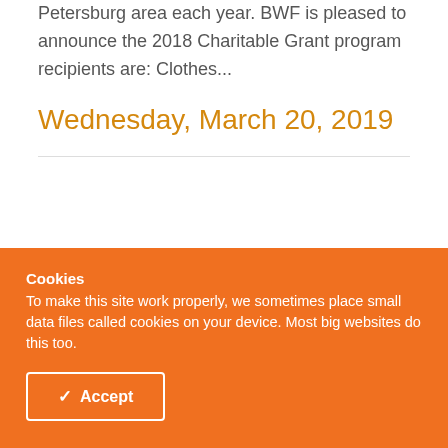Petersburg area each year. BWF is pleased to announce the 2018 Charitable Grant program recipients are: Clothes...
Wednesday, March 20, 2019
Cookies
To make this site work properly, we sometimes place small data files called cookies on your device. Most big websites do this too.
✓ Accept